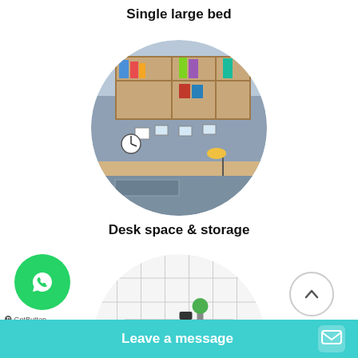Single large bed
[Figure (photo): Circular photo of a student room desk with shelving unit above it, books, a clock, photos on a blue wall, and a lamp on the desk.]
Desk space & storage
[Figure (photo): Circular photo of a bathroom with white tiles, a sink, blue towels, a small plant, and toiletries.]
[Figure (logo): WhatsApp green circle button with phone icon and GetButton label below.]
Leave a message